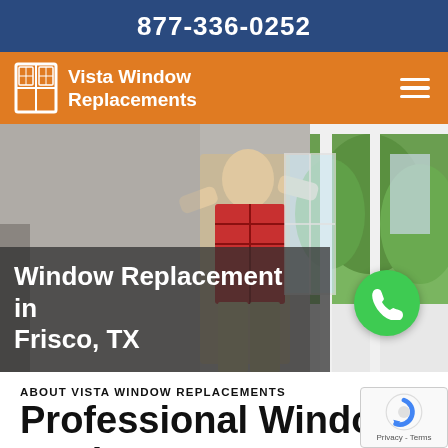877-336-0252
[Figure (logo): Vista Window Replacements logo with window icon on orange background and hamburger menu icon]
[Figure (photo): Person installing or handling a window, with green trees visible outside. Hero image with overlay text 'Window Replacement in Frisco, TX' and a green phone call button.]
Window Replacement in Frisco, TX
ABOUT VISTA WINDOW REPLACEMENTS
Professional Window Replacement